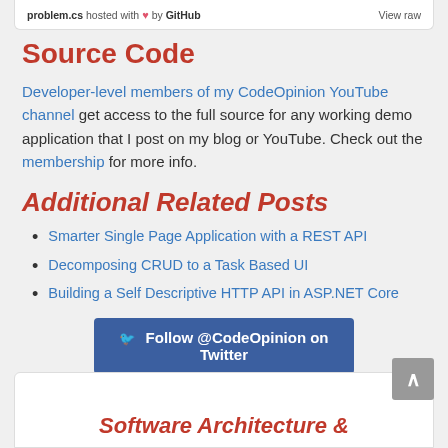problem.cs hosted with ♥ by GitHub   View raw
Source Code
Developer-level members of my CodeOpinion YouTube channel get access to the full source for any working demo application that I post on my blog or YouTube. Check out the membership for more info.
Additional Related Posts
Smarter Single Page Application with a REST API
Decomposing CRUD to a Task Based UI
Building a Self Descriptive HTTP API in ASP.NET Core
[Figure (other): Follow @CodeOpinion on Twitter button]
Software Architecture &